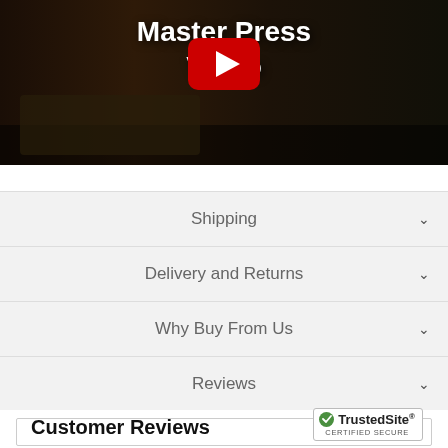[Figure (screenshot): YouTube video thumbnail showing a gym/fitness equipment scene with a play button overlay and text 'Master Press Video']
Shipping
Delivery and Returns
Why Buy From Us
Reviews
Customer Reviews
[Figure (logo): TrustedSite Certified Secure badge]